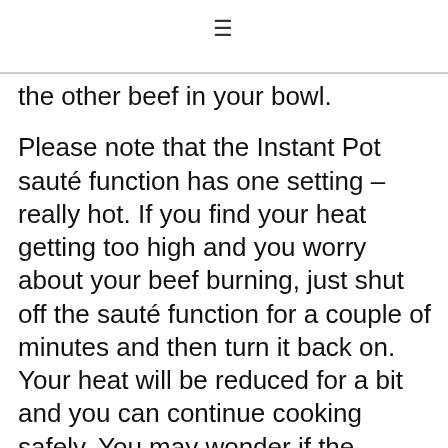≡
the other beef in your bowl.

Please note that the Instant Pot sauté function has one setting – really hot. If you find your heat getting too high and you worry about your beef burning, just shut off the sauté function for a couple of minutes and then turn it back on. Your heat will be reduced for a bit and you can continue cooking safely. You may wonder if the Instant Pot is worth it because of this design challenge.  I heartily vote yes because the Instant Pot cooks the stew (as well as other dishes) so quickly and so well